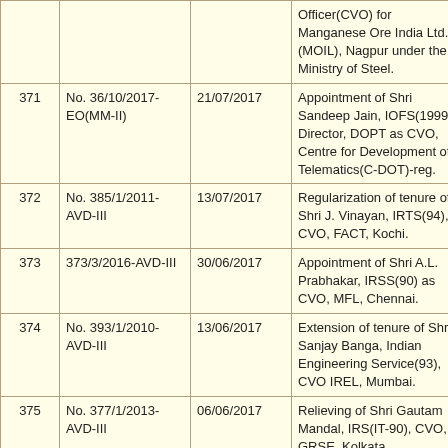| No. | File No. | Date | Subject | Download |
| --- | --- | --- | --- | --- |
|  |  |  | Officer(CVO) for Manganese Ore India Ltd. (MOIL), Nagpur under the Ministry of Steel. | PDF |
| 371 | No. 36/10/2017-EO(MM-II) | 21/07/2017 | Appointment of Shri Sandeep Jain, IOFS(1999), Director, DOPT as CVO, Centre for Development of Telematics(C-DOT)-reg. | PDF |
| 372 | No. 385/1/2011-AVD-III | 13/07/2017 | Regularization of tenure of Shri J. Vinayan, IRTS(94), CVO, FACT, Kochi. | PDF |
| 373 | 373/3/2016-AVD-III | 30/06/2017 | Appointment of Shri A.L. Prabhakar, IRSS(90) as CVO, MFL, Chennai. | PDF |
| 374 | No. 393/1/2010-AVD-III | 13/06/2017 | Extension of tenure of Shri Sanjay Banga, Indian Engineering Service(93), CVO IREL, Mumbai. | PDF |
| 375 | No. 377/1/2013-AVD-III | 06/06/2017 | Relieving of Shri Gautam Mandal, IRS(IT-90), CVO, GRSE, Kolkata. | PDF |
| 376 | No. 388/2/2011-AVD-III | 31/05/2017 | Extension of tenure of Shri Manish Bhimte, IRSME(92), CVO, MECL. | PDF |